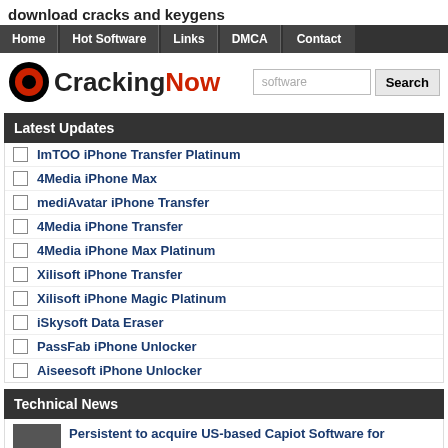download cracks and keygens
Home | Hot Software | Links | DMCA | Contact
[Figure (logo): CrackingNow logo with red circle and black/red text]
Latest Updates
ImTOO iPhone Transfer Platinum
4Media iPhone Max
mediAvatar iPhone Transfer
4Media iPhone Transfer
4Media iPhone Max Platinum
Xilisoft iPhone Transfer
Xilisoft iPhone Magic Platinum
iSkysoft Data Eraser
PassFab iPhone Unlocker
Aiseesoft iPhone Unlocker
Technical News
Persistent to acquire US-based Capiot Software for